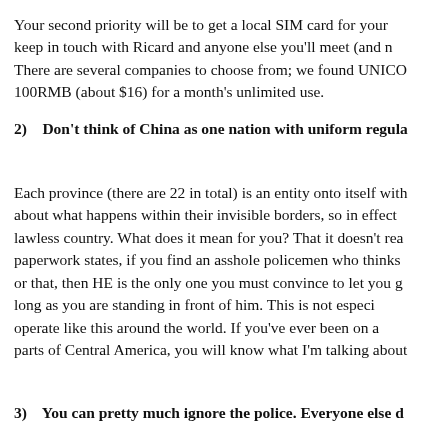Your second priority will be to get a local SIM card for your keep in touch with Ricard and anyone else you'll meet (and n There are several companies to choose from; we found UNICO 100RMB (about $16) for a month's unlimited use.
2)  Don't think of China as one nation with uniform regula
Each province (there are 22 in total) is an entity onto itself with about what happens within their invisible borders, so in effect lawless country. What does it mean for you? That it doesn't rea paperwork states, if you find an asshole policemen who thinks or that, then HE is the only one you must convince to let you g long as you are standing in front of him. This is not especi operate like this around the world. If you've ever been on a parts of Central America, you will know what I'm talking about
3)  You can pretty much ignore the police. Everyone else d